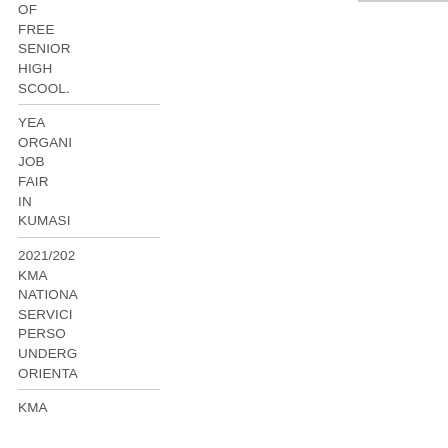OF FREE SENIOR HIGH SCOOL.
YEA ORGANI JOB FAIR IN KUMASI
2021/202 KMA NATIONA SERVICE PERSON UNDERG ORIENTA
KMA